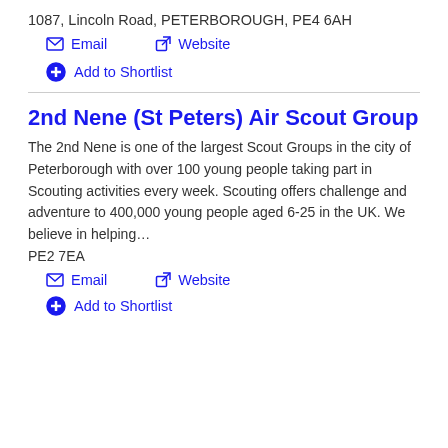1087, Lincoln Road, PETERBOROUGH, PE4 6AH
Email
Website
Add to Shortlist
2nd Nene (St Peters) Air Scout Group
The 2nd Nene is one of the largest Scout Groups in the city of Peterborough with over 100 young people taking part in Scouting activities every week. Scouting offers challenge and adventure to 400,000 young people aged 6-25 in the UK. We believe in helping…
PE2 7EA
Email
Website
Add to Shortlist